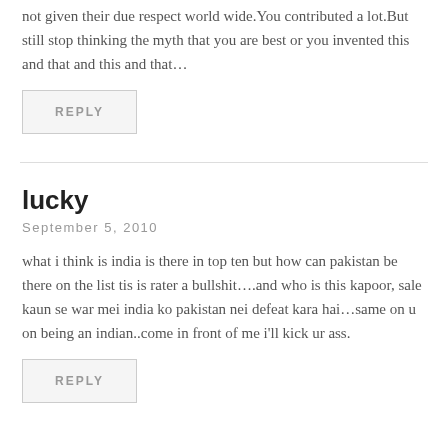not given their due respect world wide.You contributed a lot.But still stop thinking the myth that you are best or you invented this and that and this and that…
REPLY
lucky
September 5, 2010
what i think is india is there in top ten but how can pakistan be there on the list tis is rater a bullshit….and who is this kapoor, sale kaun se war mei india ko pakistan nei defeat kara hai…same on u on being an indian..come in front of me i'll kick ur ass.
REPLY